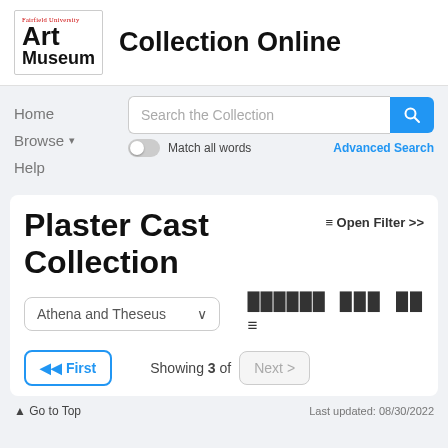[Figure (logo): Fairfield University Art Museum logo with text 'Fairfield University Art Museum']
Collection Online
Home
Browse
Help
Search the Collection
Match all words
Advanced Search
Plaster Cast Collection
≡ Open Filter >>
Athena and Theseus
⊞ First
Showing 3 of
Next >
↑ Go to Top
Last updated: 08/30/2022